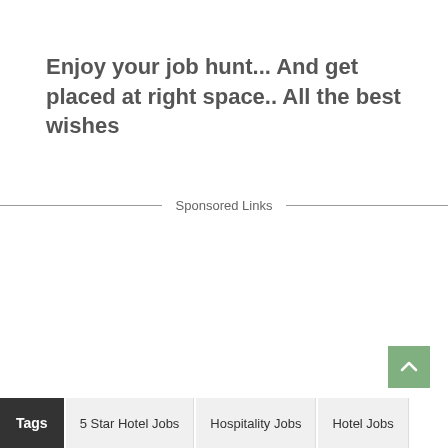Enjoy your job hunt... And get placed at right space.. All the best wishes
Sponsored Links
Tags  5 Star Hotel Jobs  Hospitality Jobs  Hotel Jobs